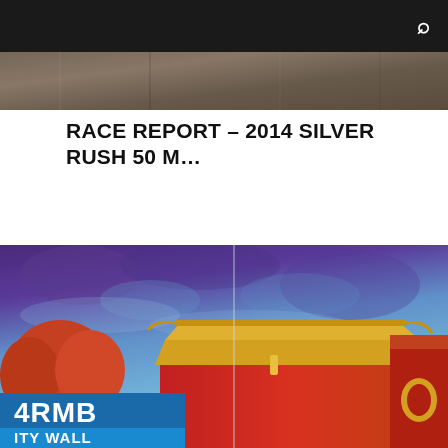🔍
[Figure (photo): A landscape photo partially visible at the top of the page, appearing to show an outdoor scene with muted earth tones.]
RACE REPORT – 2014 SILVER RUSH 50 M…
[Figure (illustration): A colorful illustrated image depicting a Chinese-style building or temple with a dramatic blue and purple painted sky. The lower portion has a blue banner with white text reading '4RMB' and 'ITY WALL'.]